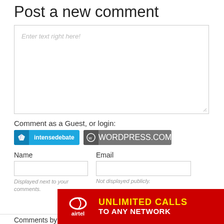Post a new comment
Enter text right here!
Comment as a Guest, or login:
[Figure (screenshot): IntenseDebate login button (blue) and WordPress.com login button (grey)]
Name
Email
Displayed next to your comments.
Not displayed publicly.
Submit Comment
Comments by intensedebate
Most Viewed
Preside...ector
[Figure (advertisement): Airtel advertisement: UNLIMITED CALLS TO ANY NETWORK on red background]